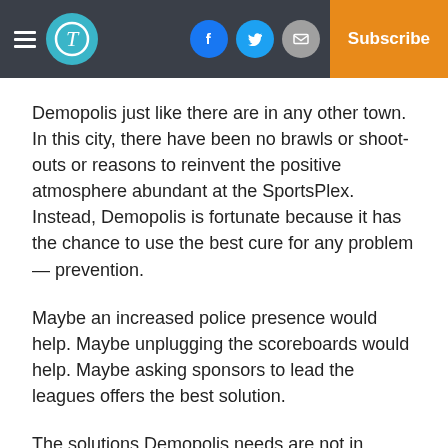Demopolis Times — Subscribe
Demopolis just like there are in any other town. In this city, there have been no brawls or shoot-outs or reasons to reinvent the positive atmosphere abundant at the SportsPlex. Instead, Demopolis is fortunate because it has the chance to use the best cure for any problem — prevention.
Maybe an increased police presence would help. Maybe unplugging the scoreboards would help. Maybe asking sponsors to lead the leagues offers the best solution.
The solutions Demopolis needs are not in reaction